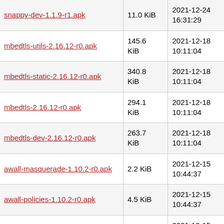| Name | Size | Date |
| --- | --- | --- |
| snappy-dev-1.1.9-r1.apk | 11.0 KiB | 2021-12-24 16:31:29 |
| mbedtls-utils-2.16.12-r0.apk | 145.6 KiB | 2021-12-18 10:11:04 |
| mbedtls-static-2.16.12-r0.apk | 340.8 KiB | 2021-12-18 10:11:04 |
| mbedtls-2.16.12-r0.apk | 294.1 KiB | 2021-12-18 10:11:04 |
| mbedtls-dev-2.16.12-r0.apk | 263.7 KiB | 2021-12-18 10:11:04 |
| awall-masquerade-1.10.2-r0.apk | 2.2 KiB | 2021-12-15 10:44:37 |
| awall-policies-1.10.2-r0.apk | 4.5 KiB | 2021-12-15 10:44:37 |
| awall-1.10.2-r0.apk | 29.3 KiB | 2021-12-15 10:44:37 |
| py3-clang-12.0.1-r1.apk | 30.4 KiB | 2021-12-13 23:53:11 |
| clang-static-12.0.1-r1.apk | 77.6 MiB | 2021-12-13 23:53:11 |
| clang-libs-12.0.1-r1.apk | 32.9 MiB | 2021-12-13 23:53:09 |